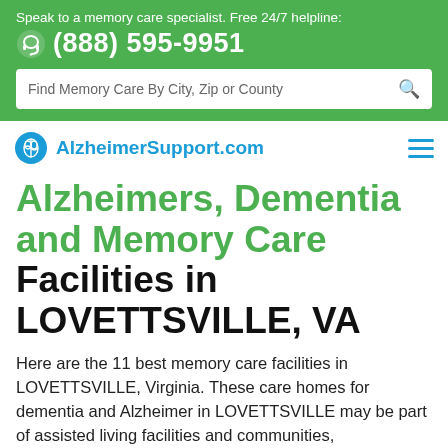Speak to a memory care specialist. Free 24/7 helpline: (888) 595-9951
Find Memory Care By City, Zip or County
[Figure (logo): AlzheimerSupport.com logo with brain icon]
Alzheimers, Dementia and Memory Care Facilities in LOVETTSVILLE, VA
Here are the 11 best memory care facilities in LOVETTSVILLE, Virginia. These care homes for dementia and Alzheimer in LOVETTSVILLE may be part of assisted living facilities and communities,